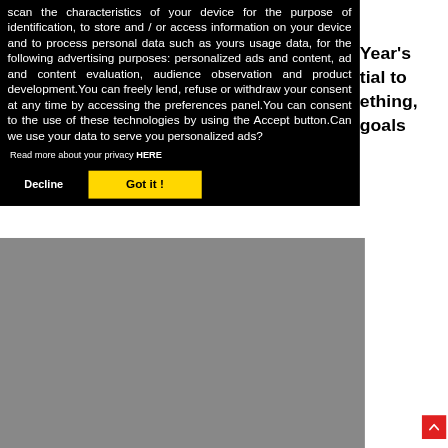Year's tial to ething, goals
scan the characteristics of your device for the purpose of identification, to store and / or access information on your device and to process personal data such as yours usage data, for the following advertising purposes: personalized ads and content, ad and content evaluation, audience observation and product development.You can freely lend, refuse or withdraw your consent at any time by accessing the preferences panel.You can consent to the use of these technologies by using the Accept button.Can we use your data to serve you personalized ads?
Read more about your privacy HERE
Decline
Got it !